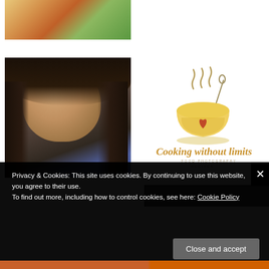[Figure (photo): Partial top of head with curly reddish hair, wearing green shirt — cropped portrait photo]
[Figure (photo): Portrait photo of a young woman with long dark hair and blue top, looking slightly upward]
[Figure (logo): Cooking without Limits logo — illustrated soup bowl with steam, orange/yellow script text reading 'Cooking without limits', subtitle 'FOOD PHOTOGRAPHY RECIPES']
Privacy & Cookies: This site uses cookies. By continuing to use this website, you agree to their use.
To find out more, including how to control cookies, see here: Cookie Policy
Close and accept